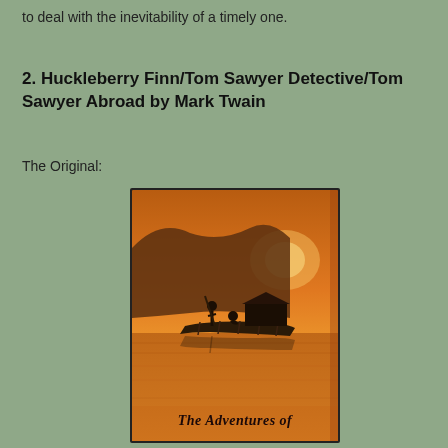to deal with the inevitability of a timely one.
2. Huckleberry Finn/Tom Sawyer Detective/Tom Sawyer Abroad by Mark Twain
The Original:
[Figure (photo): Book cover of 'The Adventures of Huckleberry Finn' showing two figures on a raft on a river at sunset with orange sky, classic painted illustration style.]